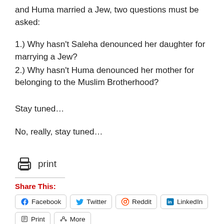and Huma married a Jew, two questions must be asked:
1.) Why hasn't Saleha denounced her daughter for marrying a Jew?
2.) Why hasn't Huma denounced her mother for belonging to the Muslim Brotherhood?
Stay tuned…
No, really, stay tuned…
[Figure (illustration): Print icon (printer symbol) followed by the word 'print']
Share This:
Facebook  Twitter  Reddit  LinkedIn